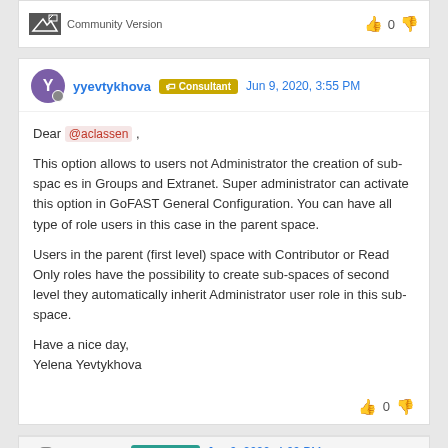Community Version
yyevtykhova · Consultant · Jun 9, 2020, 3:55 PM
Dear @aclassen ,

This option allows to users not Administrator the creation of sub-spaces in Groups and Extranet. Super administrator can activate this option in GoFAST General Configuration. You can have all type of role users in this case in the parent space.

Users in the parent (first level) space with Contributor or Read Only roles have the possibility to create sub-spaces of second level they automatically inherit Administrator user role in this sub-space.

Have a nice day,
Yelena Yevtykhova
aclassen · Customer · Jun 9, 2020, 4:09 PM